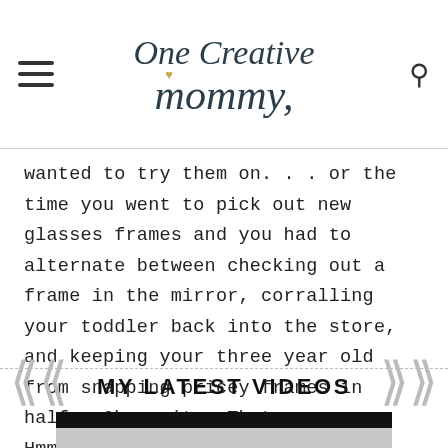One Creative Mommy
wanted to try them on... or the time you went to pick out new glasses frames and you had to alternate between checking out a frame in the mirror, corralling your toddler back into the store, and keeping your three year old from snapping pricey frames in half. Oh, wait. That was me. Hmm. I bet you've had similar experiences!
MY LATEST VIDEOS
[Figure (screenshot): Video thumbnail placeholder showing black and grey blocks]